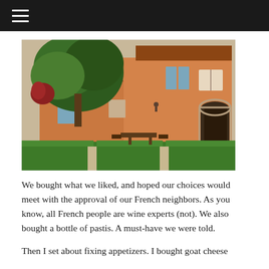≡ (hamburger menu)
[Figure (photo): A Provençal farmhouse with terracotta-orange stucco walls and blue shutters, surrounded by large green trees and neatly trimmed box hedges in the foreground. An arched doorway is visible on the right side.]
We bought what we liked, and hoped our choices would meet with the approval of our French neighbors. As you know, all French people are wine experts (not). We also bought a bottle of pastis. A must-have we were told.
Then I set about fixing appetizers. I bought goat cheese